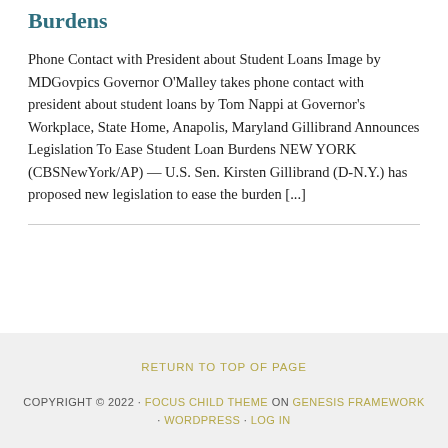Burdens
Phone Contact with President about Student Loans Image by MDGovpics Governor O'Malley takes phone contact with president about student loans by Tom Nappi at Governor's Workplace, State Home, Anapolis, Maryland Gillibrand Announces Legislation To Ease Student Loan Burdens NEW YORK (CBSNewYork/AP) — U.S. Sen. Kirsten Gillibrand (D-N.Y.) has proposed new legislation to ease the burden [...]
RETURN TO TOP OF PAGE COPYRIGHT © 2022 · FOCUS CHILD THEME ON GENESIS FRAMEWORK · WORDPRESS · LOG IN